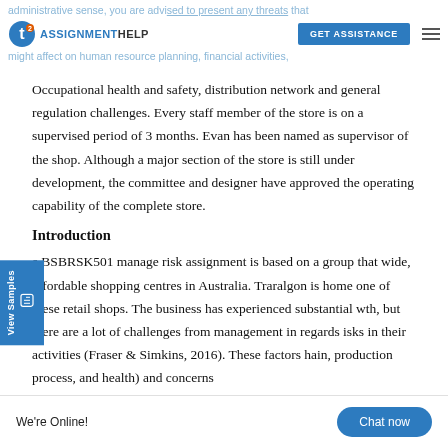administrative sense, you are advised to present any threats that might affect on human resource planning, financial activities,
Occupational health and safety, distribution network and general regulation challenges. Every staff member of the store is on a supervised period of 3 months. Evan has been named as supervisor of the shop. Although a major section of the store is still under development, the committee and designer have approved the operating capability of the complete store.
Introduction
e BSBRSK501 manage risk assignment is based on a group that wide, affordable shopping centres in Australia. Traralgon is home one of these retail shops. The business has experienced substantial wth, but there are a lot of challenges from management in regards isks in their activities (Fraser & Simkins, 2016). These factors hain, production process, and health) and concerns